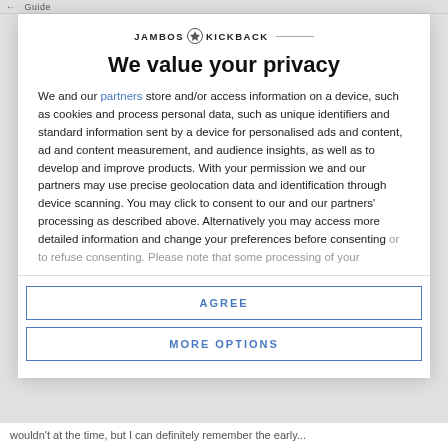← Guide
[Figure (logo): Jambos Kickback logo with soccer ball icon and horizontal line]
We value your privacy
We and our partners store and/or access information on a device, such as cookies and process personal data, such as unique identifiers and standard information sent by a device for personalised ads and content, ad and content measurement, and audience insights, as well as to develop and improve products. With your permission we and our partners may use precise geolocation data and identification through device scanning. You may click to consent to our and our partners' processing as described above. Alternatively you may access more detailed information and change your preferences before consenting or to refuse consenting. Please note that some processing of your
AGREE
MORE OPTIONS
wouldn't at the time, but I can definitely remember the early...